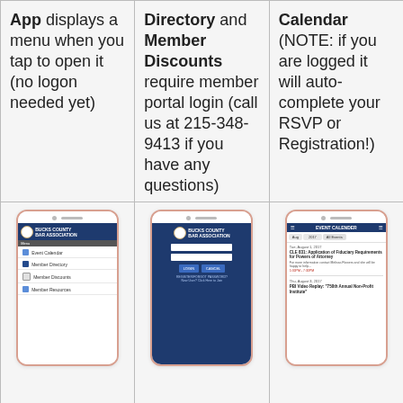App displays a menu when you tap to open it (no logon needed yet)
Directory and Member Discounts require member portal login (call us at 215-348-9413 if you have any questions)
Calendar (NOTE: if you are logged it will auto-complete your RSVP or Registration!)
[Figure (screenshot): Phone mockup showing app menu with Event Calendar, Member Directory, Member Discounts, Member Resources]
[Figure (screenshot): Phone mockup showing Bucks County Bar Association login screen with username and password fields]
[Figure (screenshot): Phone mockup showing Event Calendar screen with August 2017 events including CLE 831 and PBI Video Replay]